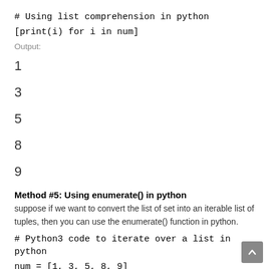# Using list comprehension in python
[print(i) for i in num]
Output:
1
3
5
8
9
Method #5: Using enumerate() in python
suppose if we want to convert the list of set into an iterable list of tuples, then you can use the enumerate() function in python.
# Python3 code to iterate over a list in python
num = [1, 3, 5, 8, 9]
# Using enumerate() function in python
for i, val in enumerate(num):